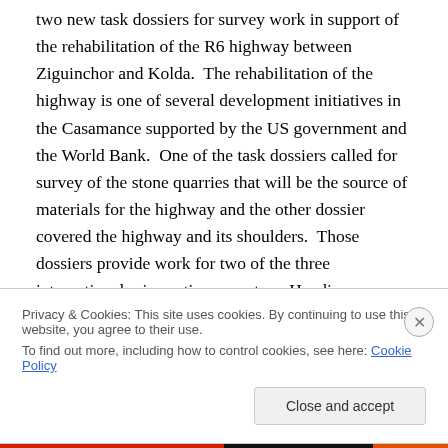two new task dossiers for survey work in support of the rehabilitation of the R6 highway between Ziguinchor and Kolda.  The rehabilitation of the highway is one of several development initiatives in the Casamance supported by the US government and the World Bank.  One of the task dossiers called for survey of the stone quarries that will be the source of materials for the highway and the other dossier covered the highway and its shoulders.  Those dossiers provide work for two of the three international mine action operators, Handicap International (which is supported by the US State Department) and Mechem
Privacy & Cookies: This site uses cookies. By continuing to use this website, you agree to their use.
To find out more, including how to control cookies, see here: Cookie Policy